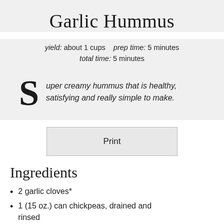Garlic Hummus
yield: about 1 cups   prep time: 5 minutes
total time: 5 minutes
Super creamy hummus that is healthy, satisfying and really simple to make.
Print
Ingredients
2 garlic cloves*
1 (15 oz.) can chickpeas, drained and rinsed